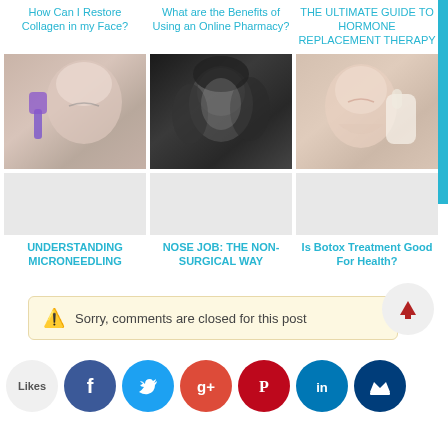How Can I Restore Collagen in my Face?
What are the Benefits of Using an Online Pharmacy?
THE ULTIMATE GUIDE TO HORMONE REPLACEMENT THERAPY
[Figure (photo): Woman receiving facial collagen treatment with device]
[Figure (photo): Black and white portrait of woman with curly hair]
[Figure (photo): Woman receiving Botox injection, gloved hands visible]
UNDERSTANDING MICRONEEDLING
NOSE JOB: THE NON-SURGICAL WAY
Is Botox Treatment Good For Health?
Sorry, comments are closed for this post